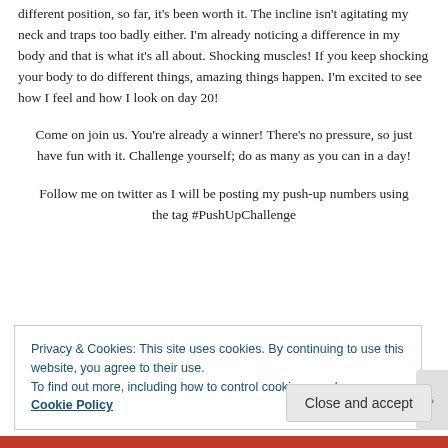different position, so far, it's been worth it. The incline isn't agitating my neck and traps too badly either. I'm already noticing a difference in my body and that is what it's all about. Shocking muscles! If you keep shocking your body to do different things, amazing things happen. I'm excited to see how I feel and how I look on day 20!
Come on join us. You're already a winner! There's no pressure, so just have fun with it. Challenge yourself; do as many as you can in a day!
Follow me on twitter as I will be posting my push-up numbers using the tag #PushUpChallenge
Privacy & Cookies: This site uses cookies. By continuing to use this website, you agree to their use.
To find out more, including how to control cookies, see here: Cookie Policy